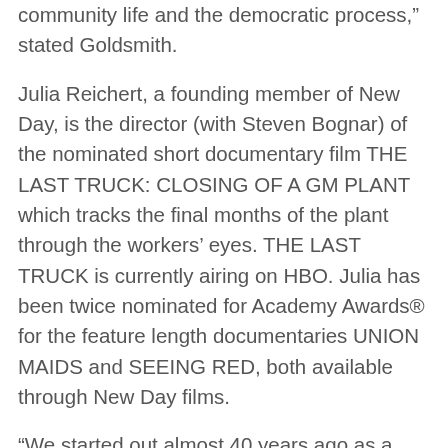community life and the democratic process,â stated Goldsmith.
Julia Reichert, a founding member of New Day, is the director (with Steven Bognar) of the nominated short documentary film THE LAST TRUCK: CLOSING OF A GM PLANT which tracks the final months of the plant through the workers’ eyes. THE LAST TRUCK is currently airing on HBO. Julia has been twice nominated for Academy Awards® for the feature length documentaries UNION MAIDS and SEEING RED, both available through New Day films.
“We started out almost 40 years ago as a group of feminist filmmakers challenging the patriarchy. Getting our films out and promoting social change was a political act then, and it still is today,” said